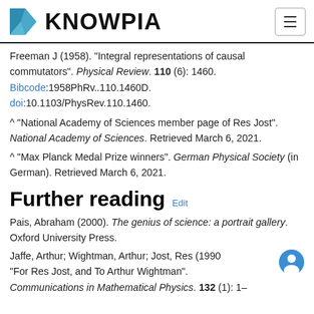KNOWPIA
Freeman J (1958). "Integral representations of causal commutators". Physical Review. 110 (6): 1460. Bibcode:1958PhRv..110.1460D. doi:10.1103/PhysRev.110.1460.
^ "National Academy of Sciences member page of Res Jost". National Academy of Sciences. Retrieved March 6, 2021.
^ "Max Planck Medal Prize winners". German Physical Society (in German). Retrieved March 6, 2021.
Further reading Edit
Pais, Abraham (2000). The genius of science: a portrait gallery. Oxford University Press.
Jaffe, Arthur; Wightman, Arthur; Jost, Res (1990 "For Res Jost, and To Arthur Wightman". Communications in Mathematical Physics. 132 (1): 1-